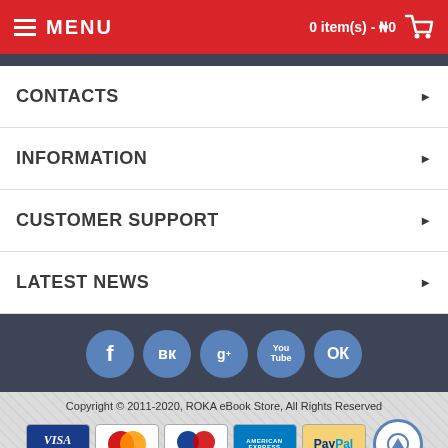MENU  0 item(s) - ₦0
CONTACTS
INFORMATION
CUSTOMER SUPPORT
LATEST NEWS
[Figure (infographic): Social media icons: Facebook (f), VK (VK), Google+ (g+), YouTube (You Tube), Odnoklassniki (OK)]
Copyright © 2011-2020, ROKA eBook Store, All Rights Reserved
[Figure (infographic): Payment method logos: Visa Electron, MasterCard, Maestro, American Express, PayPal]
[Figure (infographic): Bottom navigation bar with phone and email icons]